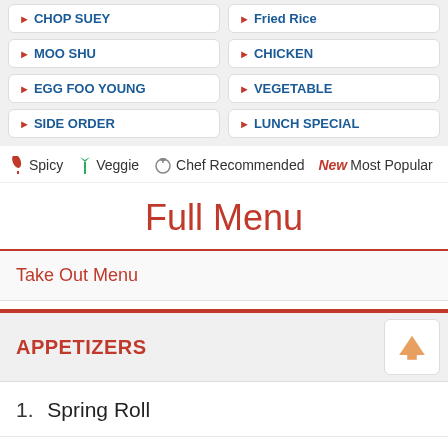CHOP SUEY
Fried Rice
MOO SHU
CHICKEN
EGG FOO YOUNG
VEGETABLE
SIDE ORDER
LUNCH SPECIAL
Spicy  Veggie  Chef Recommended  New Most Popular  Health
Full Menu
Take Out Menu
APPETIZERS
1.  Spring Roll
2.  Roast Pork Egg Roll (1)
3.  Boneless B-B-Q Spareribs